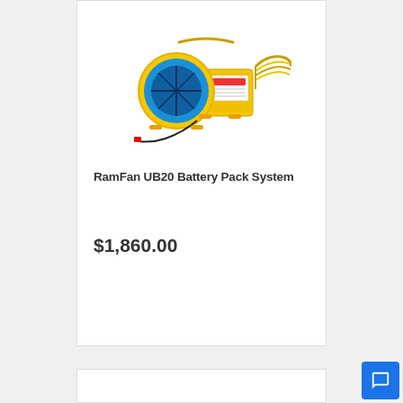[Figure (photo): Yellow RamFan UB20 Battery Pack System industrial fan/blower with attached battery pack and flexible duct hose]
RamFan UB20 Battery Pack System
$1,860.00
[Figure (other): Bottom of second product card, partially visible]